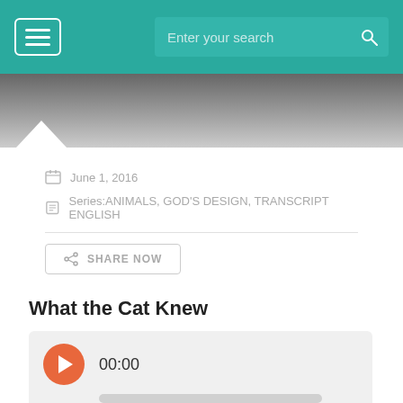Enter your search
[Figure (photo): Dark grey blurred hero image of a cat with a white chevron at the bottom left]
June 1, 2016
Series:ANIMALS, GOD'S DESIGN, TRANSCRIPT ENGLISH
SHARE NOW
What the Cat Knew
00:00
02:02